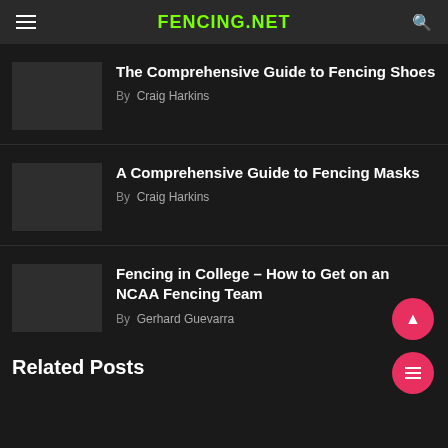FENCING.NET
The Comprehensive Guide to Fencing Shoes
By  Craig Harkins
A Comprehensive Guide to Fencing Masks
By  Craig Harkins
Fencing in College – How to Get on an NCAA Fencing Team
By  Gerhard Guevarra
Related Posts